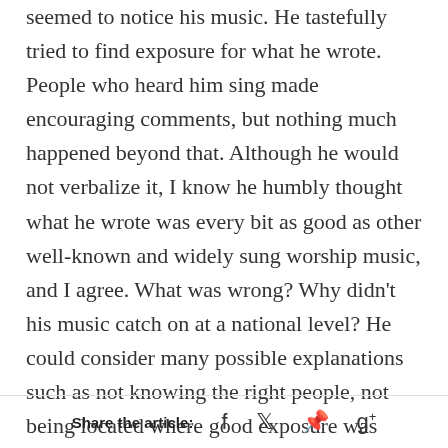seemed to notice his music. He tastefully tried to find exposure for what he wrote. People who heard him sing made encouraging comments, but nothing much happened beyond that. Although he would not verbalize it, I know he humbly thought what he wrote was every bit as good as other well-known and widely sung worship music, and I agree. What was wrong? Why didn't his music catch on at a national level? He could consider many possible explanations such as not knowing the right people, not being located where good exposure was available, or any number of other
Share the article:  f  𝕥  P  g+